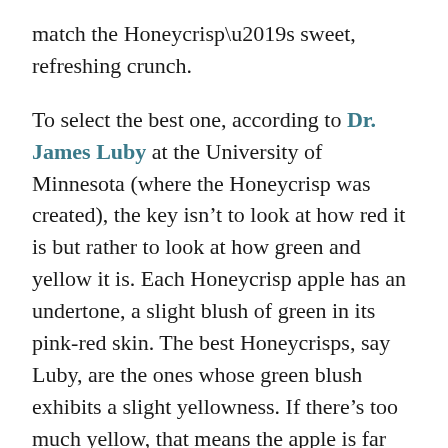match the Honeycrisp’s sweet, refreshing crunch.
To select the best one, according to Dr. James Luby at the University of Minnesota (where the Honeycrisp was created), the key isn’t to look at how red it is but rather to look at how green and yellow it is. Each Honeycrisp apple has an undertone, a slight blush of green in its pink-red skin. The best Honeycrisps, say Luby, are the ones whose green blush exhibits a slight yellowness. If there’s too much yellow, that means the apple is far too ripe.
Since Luby gave me this tip, I’ve eaten dozens of delicious Honeycrisps.
Another important tip, in terms of enjoying apple season to its fullest, is to keep your apples cold — no